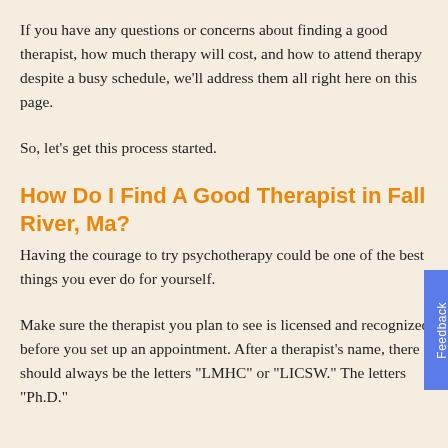If you have any questions or concerns about finding a good therapist, how much therapy will cost, and how to attend therapy despite a busy schedule, we'll address them all right here on this page.
So, let's get this process started.
How Do I Find A Good Therapist in Fall River, Ma?
Having the courage to try psychotherapy could be one of the best things you ever do for yourself.
Make sure the therapist you plan to see is licensed and recognized before you set up an appointment. After a therapist's name, there should always be the letters "LMHC" or "LICSW." The letters "Ph.D." should be at the name of a psychologist, too.